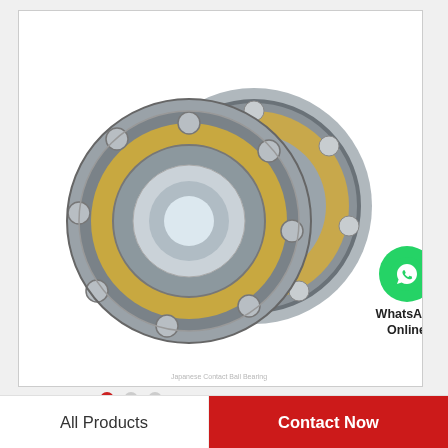[Figure (photo): Two angular contact ball bearings (FAG HCB7016-E-2RSD-T-P4S style) with gold/brass cage visible, shown side by side on white background. WhatsApp Online badge overlaid at bottom-right corner of image frame.]
80 mm x 125 mm x 22 mm FAG HCB7016-E-2RSD-T-P4S angular contact ball bearings
All Products
Contact Now